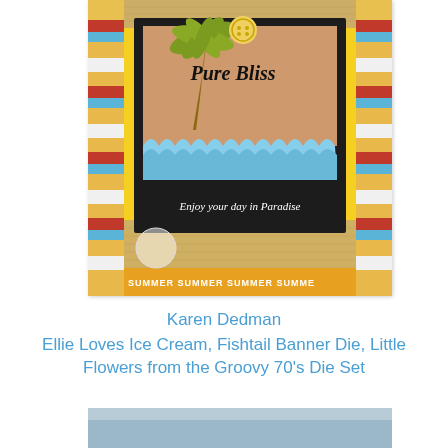[Figure (photo): A handmade craft card featuring a summer/beach theme. The card has a yellow patterned background with decorative border strips in red, blue and gold. A black-framed element contains a cork board with a palm tree cutout, a yellow button, 'Pure Bliss' text, wave die cuts in light blue, and 'Enjoy your day in Paradise' text in white. The bottom has a burlap texture and an orange band with 'SUMMER SUMMER SUMMER SUMMER' repeating text. A small logo/watermark appears in the lower left.]
Karen Dedman
Ellie Loves Ice Cream, Fishtail Banner Die, Little Flowers from the Groovy 70's Die Set
[Figure (photo): Partial view of another craft project, showing a light blue/grey background with a teal banner element visible at the bottom of the image.]